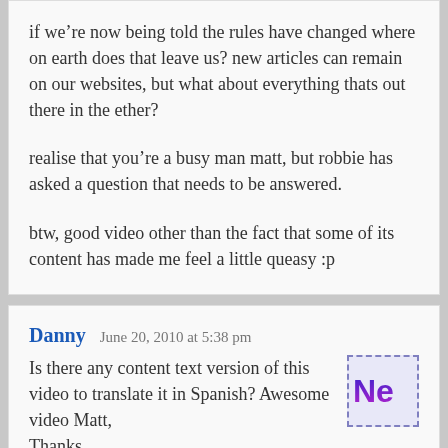if we're now being told the rules have changed where on earth does that leave us? new articles can remain on our websites, but what about everything thats out there in the ether?

realise that you're a busy man matt, but robbie has asked a question that needs to be answered.

btw, good video other than the fact that some of its content has made me feel a little queasy :p
Danny  June 20, 2010 at 5:38 pm
Is there any content text version of this video to translate it in Spanish? Awesome video Matt,
Thanks